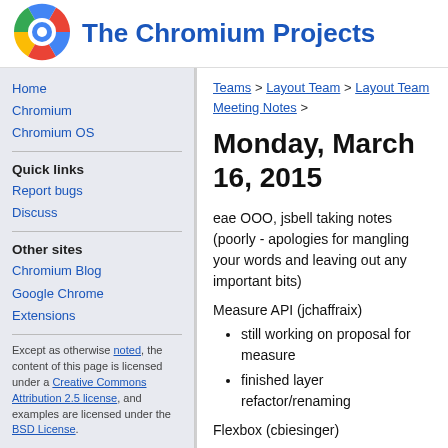[Figure (logo): Chromium logo - blue circle with inner circle design]
The Chromium Projects
Home
Chromium
Chromium OS
Quick links
Report bugs
Discuss
Other sites
Chromium Blog
Google Chrome
Extensions
Except as otherwise noted, the content of this page is licensed under a Creative Commons Attribution 2.5 license, and examples are licensed under the BSD License.
Privacy
Edit this page
Teams > Layout Team > Layout Team Meeting Notes >
Monday, March 16, 2015
eae OOO, jsbell taking notes (poorly - apologies for mangling your words and leaving out any important bits)
Measure API (jchaffraix)
still working on proposal for measure
finished layer refactor/renaming
Flexbox (cbiesinger)
almost done w/ first part of flexbox spec change